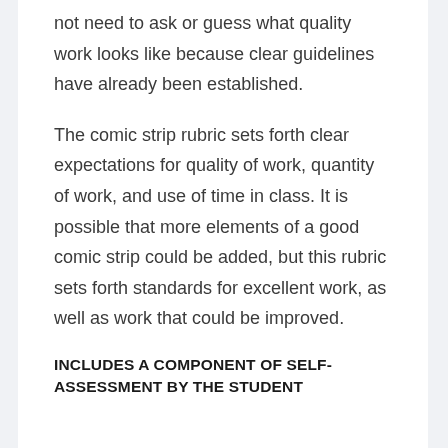not need to ask or guess what quality work looks like because clear guidelines have already been established.
The comic strip rubric sets forth clear expectations for quality of work, quantity of work, and use of time in class. It is possible that more elements of a good comic strip could be added, but this rubric sets forth standards for excellent work, as well as work that could be improved.
INCLUDES A COMPONENT OF SELF-ASSESSMENT BY THE STUDENT